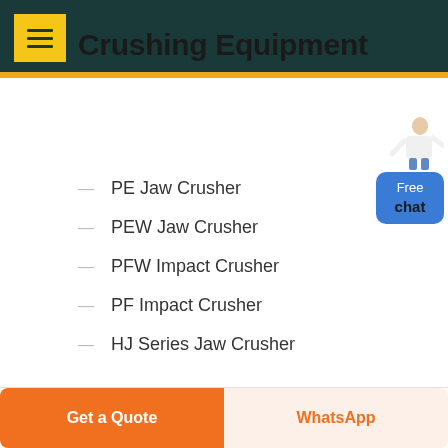Menu navigation header with hamburger icon
Crushing Equipment
— PE Jaw Crusher
— PEW Jaw Crusher
— PFW Impact Crusher
— PF Impact Crusher
— HJ Series Jaw Crusher
[Figure (illustration): Free chat widget with person figure and blue button labeled Free chat]
Get a Quote | WhatsApp